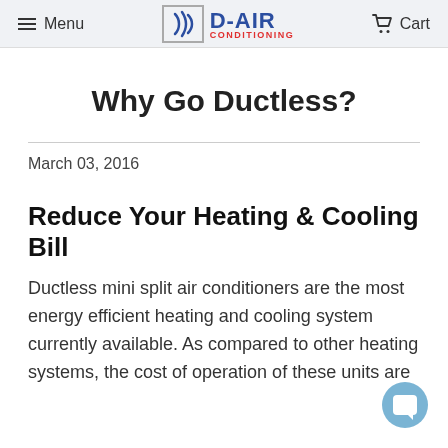Menu  D-AIR CONDITIONING  Cart
Why Go Ductless?
March 03, 2016
Reduce Your Heating & Cooling Bill
Ductless mini split air conditioners are the most energy efficient heating and cooling system currently available. As compared to other heating systems, the cost of operation of these units are